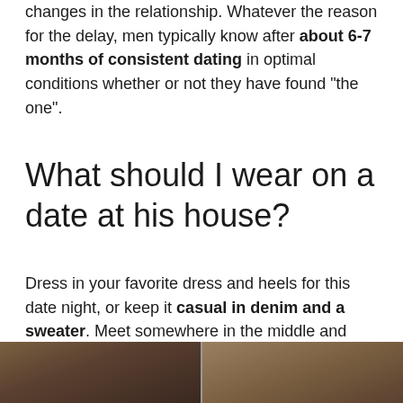changes in the relationship. Whatever the reason for the delay, men typically know after about 6-7 months of consistent dating in optimal conditions whether or not they have found “the one”.
What should I wear on a date at his house?
Dress in your favorite dress and heels for this date night, or keep it casual in denim and a sweater. Meet somewhere in the middle and wear a midi skirt with a soft sweater for your wine tasting or spring’s must-have, a cropped jumpsuit. There are no style rules for a wine tasting.
[Figure (photo): Two photos side by side at the bottom of the page, partially visible. Appear to show people or figures in warm tones.]